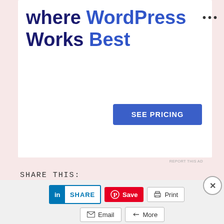[Figure (screenshot): Web hosting advertisement showing 'where WordPress Works Best' text with a 'SEE PRICING' button on white background within pink section]
REPORT THIS AD
SHARE THIS:
[Figure (screenshot): Social sharing buttons row 1: LinkedIn SHARE, Pinterest Save, Print]
[Figure (screenshot): Social sharing buttons row 2: Email, More]
Advertisements
[Figure (screenshot): DuckDuckGo advertisement: Search, browse, and email with more privacy. All in One Free App. Shows phone mockup with DuckDuckGo logo.]